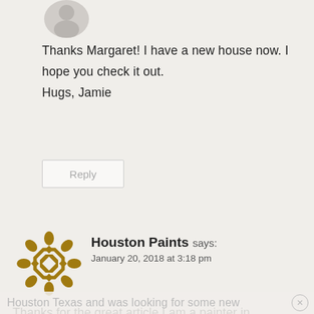[Figure (photo): Circular avatar image of a person, partially visible at the top]
Thanks Margaret! I have a new house now. I hope you check it out.
Hugs, Jamie
Reply
[Figure (logo): Houston Paints ornamental gold/dark-yellow logo icon with diamond and floral pattern]
Houston Paints says:
January 20, 2018 at 3:18 pm
Thanks for the great article I am a painter in
Houston Texas and was looking for some new